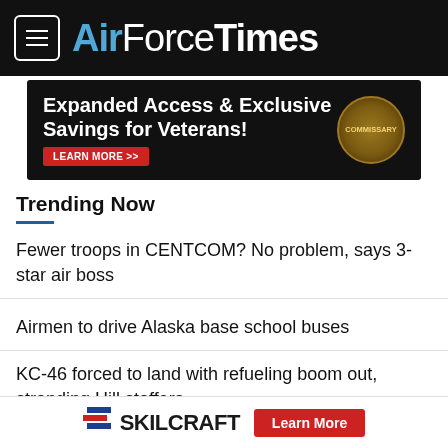AirForceTimes
[Figure (infographic): Advertisement banner: Expanded Access & Exclusive Savings for Veterans! LEARN MORE >> with Commissary badge]
Trending Now
Fewer troops in CENTCOM? No problem, says 3-star air boss
Airmen to drive Alaska base school buses
KC-46 forced to land with refueling boom out, stranding Hill staffers
Ex-Air Force sergeant gets life in deputy’s killing
[Figure (logo): Skilcraft logo with Learn More button advertisement]